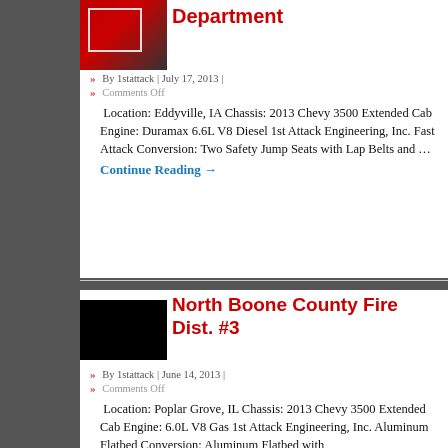[Figure (photo): Thumbnail photo of a fire truck or emergency vehicle with red coloring]
Department
By 1stattack | July 17, 2013 |
Comments Off
Location: Eddyville, IA Chassis: 2013 Chevy 3500 Extended Cab Engine: Duramax 6.6L V8 Diesel 1st Attack Engineering, Inc. Fast Attack Conversion: Two Safety Jump Seats with Lap Belts and …
Continue Reading →
[Figure (photo): Black thumbnail image for North Boone County Fire Dist. #3]
North Boone County Fire Dist. #3
By 1stattack | June 14, 2013 |
Comments Off
Location: Poplar Grove, IL Chassis: 2013 Chevy 3500 Extended Cab Engine: 6.0L V8 Gas 1st Attack Engineering, Inc. Aluminum Flatbed Conversion: Aluminum Flatbed with